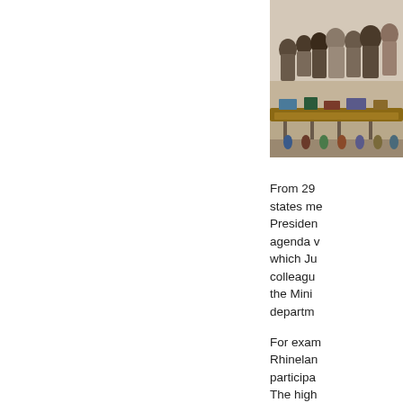[Figure (photo): Group of people gathered around a table or display at an event, viewed from an angle]
From 29 states me President agenda w which Ju colleagu the Mini departm
For exam Rhinela participa The high varieties Phenolin grapes a